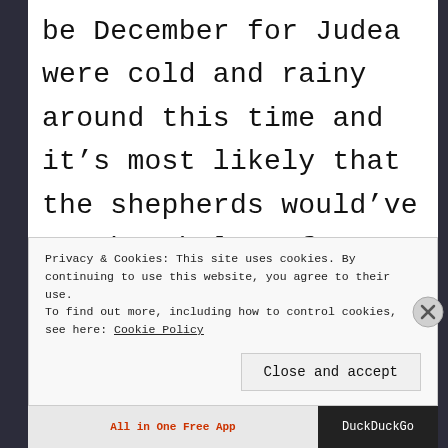be December for Judea were cold and rainy around this time and it's most likely that the shepherds would've sought shelter for their
Privacy & Cookies: This site uses cookies. By continuing to use this website, you agree to their use.
To find out more, including how to control cookies, see here: Cookie Policy
Close and accept
All in One Free App   DuckDuckGo